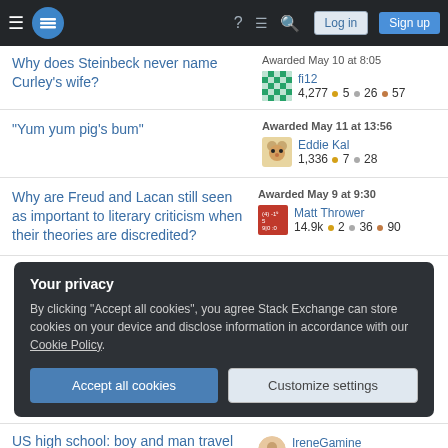Stack Exchange navigation bar with hamburger menu, logo, help, chat, search, Log in, Sign up buttons
Why does Steinbeck never name Curley's wife? — Awarded May 10 at 8:05 — fi12 — 4,277 • 5 • 26 • 57
"Yum yum pig's bum" — Awarded May 11 at 13:56 — Eddie Kal — 1,336 • 7 • 28
Why are Freud and Lacan still seen as important to literary criticism when their theories are discredited? — Awarded May 9 at 9:30 — Matt Thrower — 14.9k • 2 • 36 • 90
Your privacy
By clicking "Accept all cookies", you agree Stack Exchange can store cookies on your device and disclose information in accordance with our Cookie Policy.
Accept all cookies | Customize settings
US high school: boy and man travel through ancient ruins — IreneGamine — 113 • 1 •